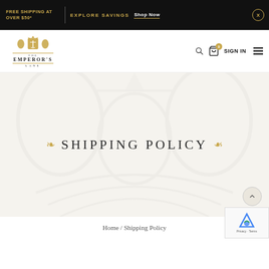FREE SHIPPING AT OVER $50* | EXPLORE SAVINGS  Shop Now
[Figure (logo): The Emperor's Lane brand logo with golden crown crest and decorative lines]
SHIPPING POLICY
Home / Shipping Policy